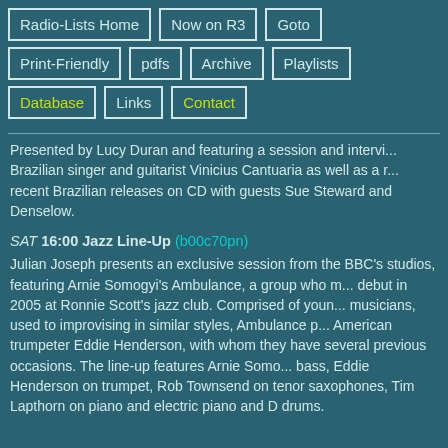Radio-Lists Home
Now on R3
Goto
Print-Friendly
pdfs
Archive
Playlists
Database
Links
Contact
Presented by Lucy Duran and featuring a session and interview with Brazilian singer and guitarist Vinicius Cantuaria as well as a review of recent Brazilian releases on CD with guests Sue Steward and Robin Denselow.
SAT 16:00 Jazz Line-Up (b00c70pn) Julian Joseph presents an exclusive session from the BBC's studios, featuring Arnie Somogyi's Ambulance, a group who made their debut in 2005 at Ronnie Scott's jazz club. Comprised of young musicians, used to improvising in similar styles, Ambulance perform with American trumpeter Eddie Henderson, with whom they have played on several previous occasions. The line-up features Arnie Somogyi on bass, Eddie Henderson on trumpet, Rob Townsend on tenor saxophones, Tim Lapthorn on piano and electric piano and D drums.